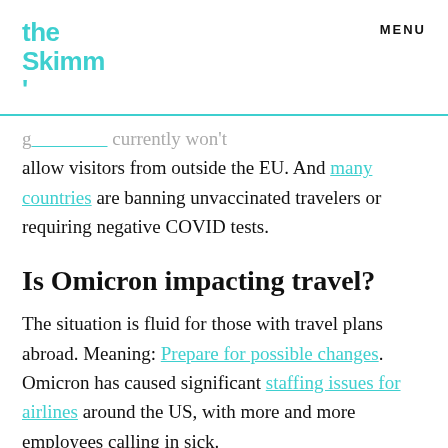the Skimm' | MENU
...currently won't allow visitors from outside the EU. And many countries are banning unvaccinated travelers or requiring negative COVID tests.
Is Omicron impacting travel?
The situation is fluid for those with travel plans abroad. Meaning: Prepare for possible changes. Omicron has caused significant staffing issues for airlines around the US, with more and more employees calling in sick.
[Figure (other): Social sharing icons: Facebook, Twitter, Email, Link]